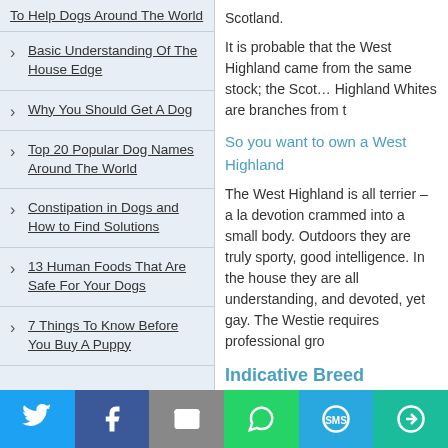To Help Dogs Around The World
Basic Understanding Of The House Edge
Why You Should Get A Dog
Top 20 Popular Dog Names Around The World
Constipation in Dogs and How to Find Solutions
13 Human Foods That Are Safe For Your Dogs
7 Things To Know Before You Buy A Puppy
Scotland.
It is probable that the West Highland came from the same stock; the Scottish Highland Whites are branches from t
So you want to own a West Highland
The West Highland is all terrier – a la devotion crammed into a small body. Outdoors they are truly sporty, good intelligence. In the house they are all understanding, and devoted, yet gay. The Westie requires professional gro
Indicative Breed Standard